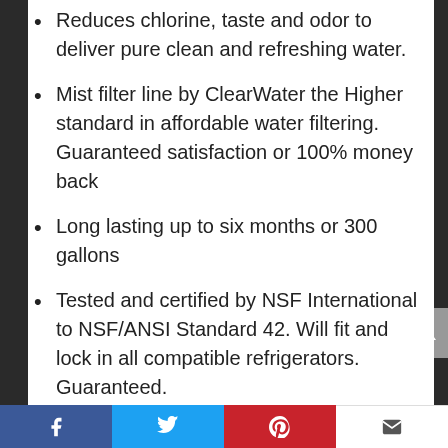Reduces chlorine, taste and odor to deliver pure clean and refreshing water.
Mist filter line by ClearWater the Higher standard in affordable water filtering. Guaranteed satisfaction or 100% money back
Long lasting up to six months or 300 gallons
Tested and certified by NSF International to NSF/ANSI Standard 42. Will fit and lock in all compatible refrigerators. Guaranteed.
Social share bar: Facebook, Twitter, Pinterest, Email